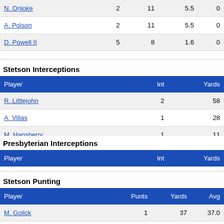| Player |  |  |  |  |
| --- | --- | --- | --- | --- |
| N. Orjioke | 2 | 11 | 5.5 | 0 |
| A. Polson | 2 | 11 | 5.5 | 0 |
| D. Powell II | 5 | 8 | 1.6 | 0 |
Stetson Interceptions
| Player | Int | Yards |
| --- | --- | --- |
| R. Littlejohn | 2 | 58 |
| A. Villas | 1 | 28 |
| M. Hansberry | 1 | 11 |
Presbyterian Interceptions
| Player | Int | Yards |
| --- | --- | --- |
Stetson Punting
| Player | Punts | Yards | Avg |
| --- | --- | --- | --- |
| M. Golick | 1 | 37 | 37.0 |
| M. Skoloff | 1 | 36 | 36.0 |